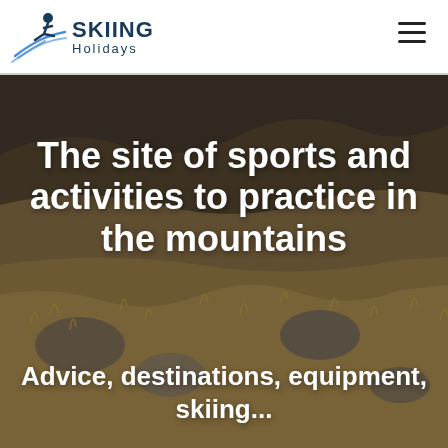SKIING Holidays
[Figure (photo): Mountain landscape with rocky terrain and dry golden-brown grass/vegetation, serving as hero background image]
The site of sports and activities to practice in the mountains
Advice, destinations, equipment, skiing...